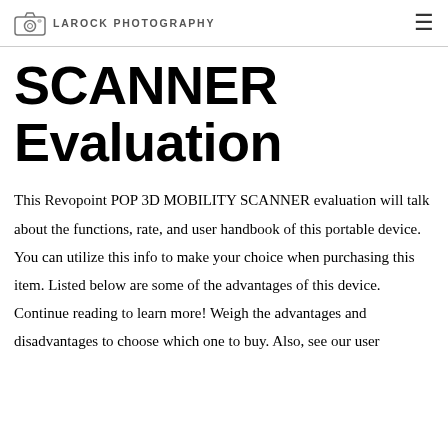LAROCK PHOTOGRAPHY
SCANNER Evaluation
This Revopoint POP 3D MOBILITY SCANNER evaluation will talk about the functions, rate, and user handbook of this portable device. You can utilize this info to make your choice when purchasing this item. Listed below are some of the advantages of this device. Continue reading to learn more! Weigh the advantages and disadvantages to choose which one to buy. Also, see our user